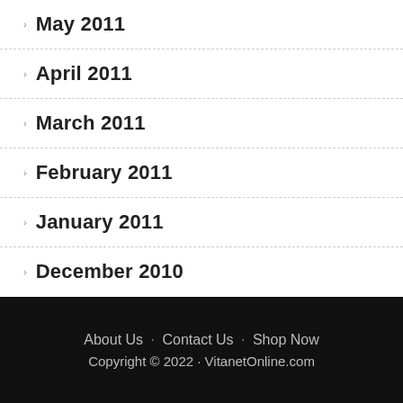May 2011
April 2011
March 2011
February 2011
January 2011
December 2010
About Us · Contact Us · Shop Now Copyright © 2022 · VitanetOnline.com